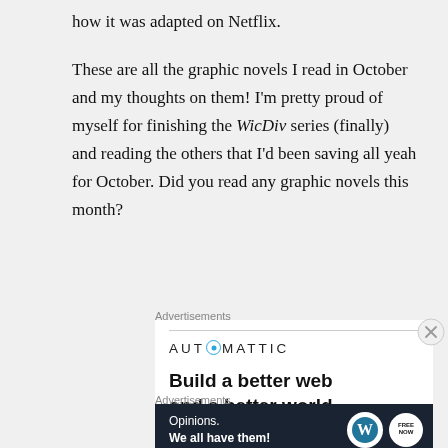how it was adapted on Netflix.
These are all the graphic novels I read in October and my thoughts on them! I'm pretty proud of myself for finishing the WicDiv series (finally) and reading the others that I'd been saving all yeah for October. Did you read any graphic novels this month?
Advertisements
[Figure (other): Automattic advertisement: logo with 'AUTOMATTIC' text and blue circle-O, with text 'Build a better web and a better world']
Advertisements
[Figure (other): Dark navy advertisement banner: 'Opinions. We all have them!' with WordPress logo and another circular logo on dark background]